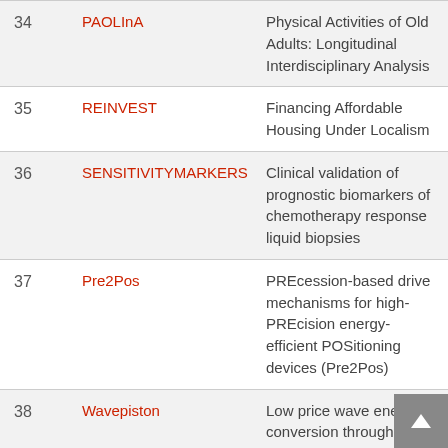| # | Acronym | Description |
| --- | --- | --- |
| 34 | PAOLInA | Physical Activities of Old Adults: Longitudinal Interdisciplinary Analysis |
| 35 | REINVEST | Financing Affordable Housing Under Localism |
| 36 | SENSITIVITYMARKERS | Clinical validation of prognostic biomarkers of chemotherapy response liquid biopsies |
| 37 | Pre2Pos | PREcession-based drive mechanisms for high-PREcision energy-efficient POSitioning devices (Pre2Pos) |
| 38 | Wavepiston | Low price wave energy conversion through force cancellation. |